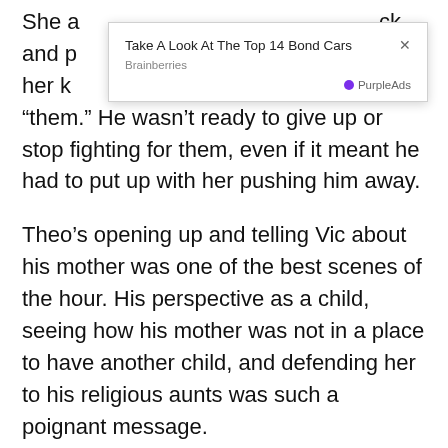She a[d back]ck and p[ushed him away, but h]e let her k[now they were]still a “them.” He wasn’t ready to give up or stop fighting for them, even if it meant he had to put up with her pushing him away.
[Figure (other): Ad overlay: 'Take A Look At The Top 14 Bond Cars' by Brainberries, with PurpleAds badge and close (x) button]
Theo’s opening up and telling Vic about his mother was one of the best scenes of the hour. His perspective as a child, seeing how his mother was not in a place to have another child, and defending her to his religious aunts was such a poignant message.
It showed how he had such a profound understanding of the situation, and he handled it and Vic beautifully the entire time.